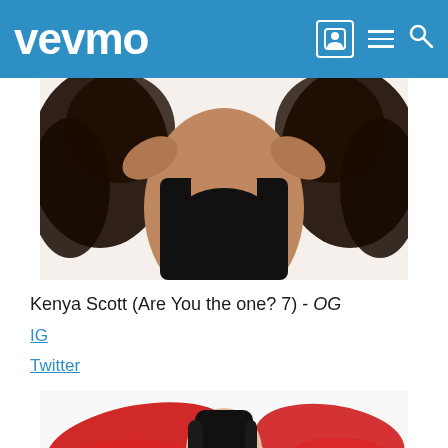vevmo
[Figure (photo): A woman with curly natural hair wearing a black sleeveless top, photographed from above against a white background]
Kenya Scott (Are You the one? 7) - OG
IG
Twitter
[Figure (photo): A woman with long dark hair in braids and blue eye shadow, photographed against a white background with red brush stroke graphic elements]